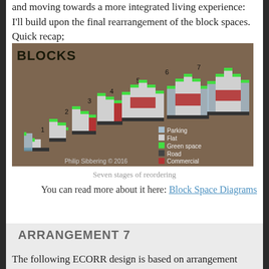and moving towards a more integrated living experience: I'll build upon the final rearrangement of the block spaces. Quick recap;
[Figure (illustration): Seven numbered 3D block arrangements (stages 1-7) showing progression of block reordering, with a legend indicating Parking (blue), Flat (grey), Green space (green), Road (dark grey), Commercial (red). Credit: Philip Sibbering © 2016]
Seven stages of reordering
You can read more about it here: Block Space Diagrams
ARRANGEMENT 7
The following ECORR design is based on arrangement